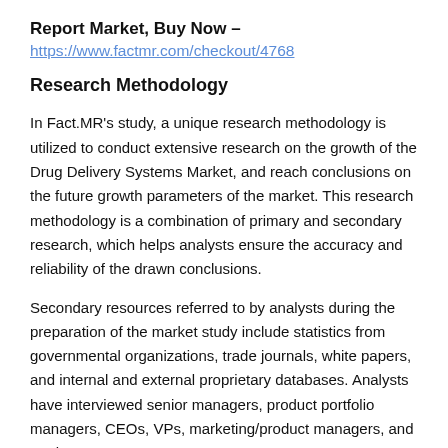Report Market, Buy Now –
https://www.factmr.com/checkout/4768
Research Methodology
In Fact.MR's study, a unique research methodology is utilized to conduct extensive research on the growth of the Drug Delivery Systems Market, and reach conclusions on the future growth parameters of the market. This research methodology is a combination of primary and secondary research, which helps analysts ensure the accuracy and reliability of the drawn conclusions.
Secondary resources referred to by analysts during the preparation of the market study include statistics from governmental organizations, trade journals, white papers, and internal and external proprietary databases. Analysts have interviewed senior managers, product portfolio managers, CEOs, VPs, marketing/product managers, and market